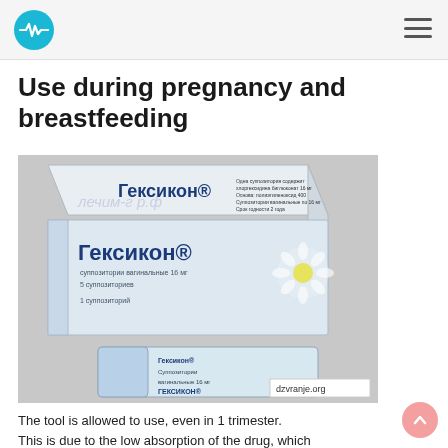Use during pregnancy and breastfeeding
[Figure (photo): Product photo showing Гексикон (Hexicon) medication boxes and a vaginal suppository blister pack. Two white/light blue medication boxes labeled Гексикон and a transparent blister pack labeled Гексикон Суппозитории вагинальные 16 мг. Watermark text: лечим-г...р.ф and dzvranje.org.]
The tool is allowed to use, even in 1 trimester.
This is due to the low absorption of the drug, which